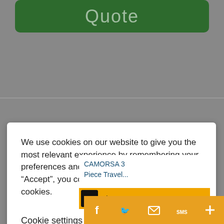[Figure (screenshot): Green rounded button with text 'Quote' in light semi-transparent white letters]
We use cookies on our website to give you the most relevant experience by remembering your preferences and repeat visits. By clicking “Accept”, you consent to the use of ALL the cookies.
Cookie settings
ACCEPT
CAMORSA 3 Piece Travel...
Shop now
[Figure (screenshot): Social share bar with Facebook, Twitter, Email, SMS, and plus icons in orange/yellow square buttons]